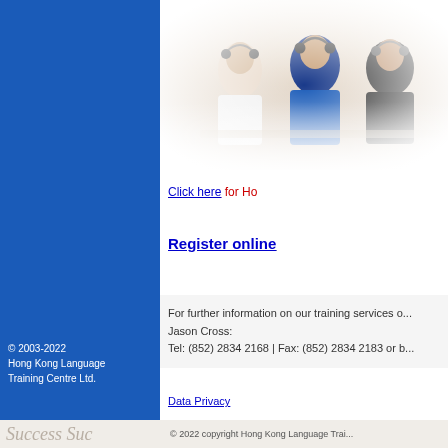[Figure (photo): Photo of students/trainees wearing headsets, sitting at computers in a language training classroom, viewed from the side]
Click here for Ho
Register online
For further information on our training services o... Jason Cross:
Tel: (852) 2834 2168 | Fax: (852) 2834 2183 or b...
Data Privacy
© 2022 copyright Hong Kong Language Trai...
© 2003-2022
Hong Kong Language
Training Centre Ltd.